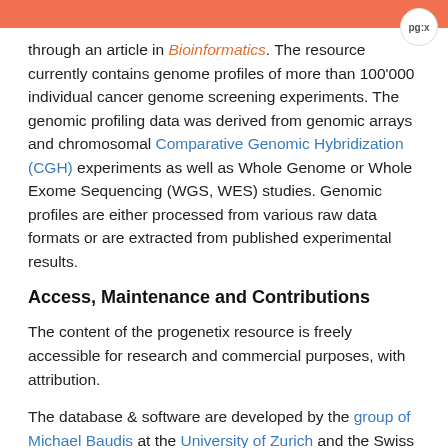pg:x
through an article in Bioinformatics. The resource currently contains genome profiles of more than 100'000 individual cancer genome screening experiments. The genomic profiling data was derived from genomic arrays and chromosomal Comparative Genomic Hybridization (CGH) experiments as well as Whole Genome or Whole Exome Sequencing (WGS, WES) studies. Genomic profiles are either processed from various raw data formats or are extracted from published experimental results.
Access, Maintenance and Contributions
The content of the progenetix resource is freely accessible for research and commercial purposes, with attribution.
The database & software are developed by the group of Michael Baudis at the University of Zurich and the Swiss Institute of Bioinformatics [(SIB)]http://sib.swiss/baudis-michael/".
Many previous members and external collaborators have contributed to data content and resource features. Participation (features, data, comments) by volunteers are